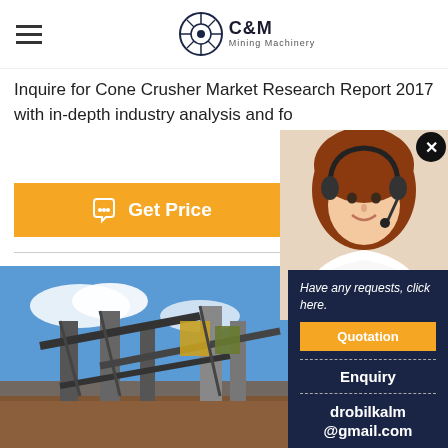C&M Mining Machinery
Inquire for Cone Crusher Market Research Report 2017 with in-depth industry analysis and fo
Get Price | Send
[Figure (photo): Industrial mining/crushing plant machinery with conveyor belts against a blue sky background]
[Figure (photo): Female customer service representative with headset, smiling]
Have any requests, click here. Quotation | Enquiry | drobilkalm@gmail.com | Chat